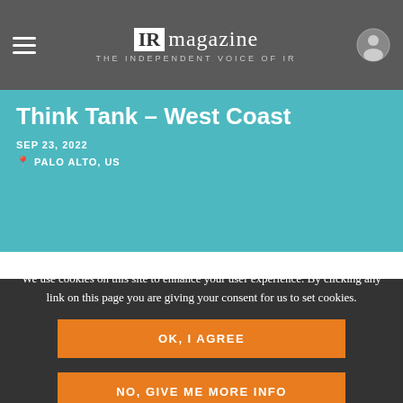IR magazine THE INDEPENDENT VOICE OF IR
Think Tank – West Coast
SEP 23, 2022
PALO ALTO, US
MOST READ
We use cookies on this site to enhance your user experience. By clicking any link on this page you are giving your consent for us to set cookies.
OK, I AGREE
NO, GIVE ME MORE INFO